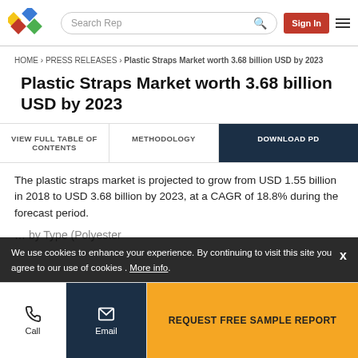Logo | Search Rep | Sign In | Menu
HOME › PRESS RELEASES › Plastic Straps Market worth 3.68 billion USD by 2023
Plastic Straps Market worth 3.68 billion USD by 2023
VIEW FULL TABLE OF CONTENTS | METHODOLOGY | DOWNLOAD PDF
The plastic straps market is projected to grow from USD 1.55 billion in 2018 to USD 3.68 billion by 2023, at a CAGR of 18.8% during the forecast period.
We use cookies to enhance your experience. By continuing to visit this site you agree to our use of cookies . More info.
... by Type (Polyester ...